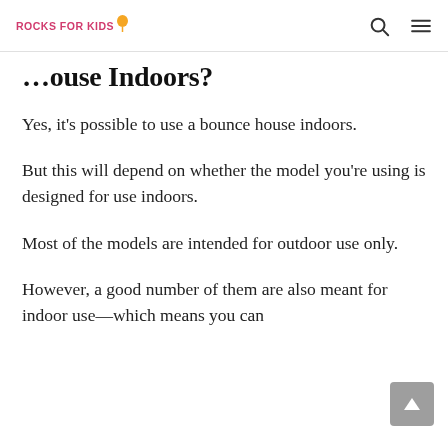ROCKS FOR KIDS
…ouse Indoors?
Yes, it's possible to use a bounce house indoors.
But this will depend on whether the model you're using is designed for use indoors.
Most of the models are intended for outdoor use only.
However, a good number of them are also meant for indoor use—which means you can